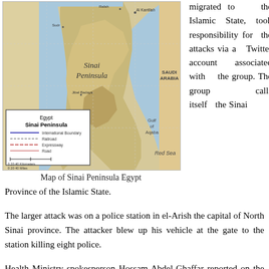[Figure (map): Map of Sinai Peninsula Egypt showing geographical features, Gulf of Suez, Red Sea, Saudi Arabia, with legend showing International Boundary, Railroad, Expressway, Road]
Map of Sinai Peninsula Egypt
migrated to the Islamic State, took responsibility for the attacks via a Twitter account associated with the group. The group calls itself the Sinai Province of the Islamic State.
The larger attack was on a police station in el-Arish the capital of North Sinai province. The attacker blew up his vehicle at the gate to the station killing eight police.
Health Ministry spokesperson Hossam Abdel-Ghaffar reported on the casualties from Cairo and noted that some of the injured were in critical condition. Officials said that a huge crater was created by the blast and